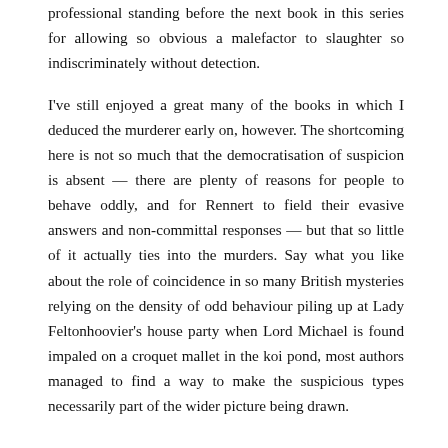professional standing before the next book in this series for allowing so obvious a malefactor to slaughter so indiscriminately without detection.
I've still enjoyed a great many of the books in which I deduced the murderer early on, however. The shortcoming here is not so much that the democratisation of suspicion is absent — there are plenty of reasons for people to behave oddly, and for Rennert to field their evasive answers and non-committal responses — but that so little of it actually ties into the murders. Say what you like about the role of coincidence in so many British mysteries relying on the density of odd behaviour piling up at Lady Feltonhoovier's house party when Lord Michael is found impaled on a croquet mallet in the koi pond, most authors managed to find a way to make the suspicious types necessarily part of the wider picture being drawn.